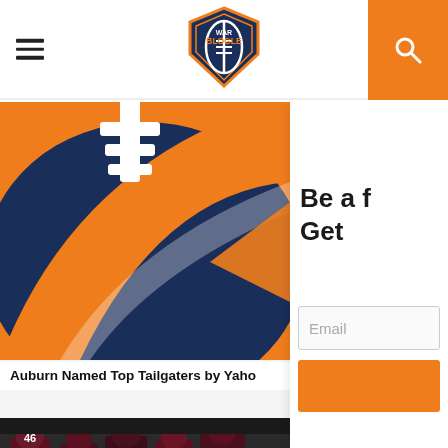War Blogle — navigation header with hamburger menu and search
[Figure (logo): War Blogle shield logo with football graphic, navy and orange colors]
[Figure (illustration): Auburn football helmet/logo graphic in navy blue and orange]
Auburn Named Top Tailgaters by Yaho
Be a f
Get
[Figure (screenshot): Email input field with placeholder 'Email' and orange submit button]
[Figure (photo): Football players in maroon/dark uniforms on field]